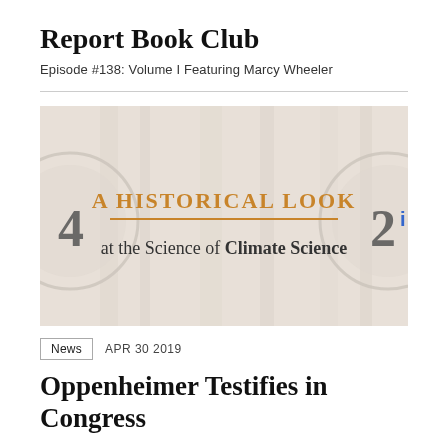Report Book Club
Episode #138: Volume I Featuring Marcy Wheeler
[Figure (illustration): Decorative background image with clock-like elements on either side. Center text reads 'A HISTORICAL LOOK' in orange/gold uppercase lettering, with a horizontal orange line beneath, then 'at the Science of Climate Science' in mixed serif font below. Numbers '4' and '2' visible at left and right edges.]
News   APR 30 2019
Oppenheimer Testifies in Congress